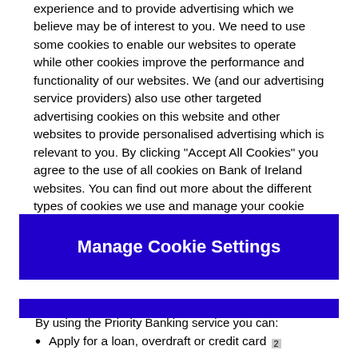experience and to provide advertising which we believe may be of interest to you. We need to use some cookies to enable our websites to operate while other cookies improve the performance and functionality of our websites. We (and our advertising service providers) also use other targeted advertising cookies on this website and other websites to provide personalised advertising which is relevant to you. By clicking "Accept All Cookies" you agree to the use of all cookies on Bank of Ireland websites. You can find out more about the different types of cookies we use and manage your cookie settings on this website by clicking "Manage Cookie Settings". To find out more about how we use cookies please read our cookies policy.
Manage Cookie Settings
By using the Priority Banking service you can:
Apply for a loan, overdraft or credit card 2